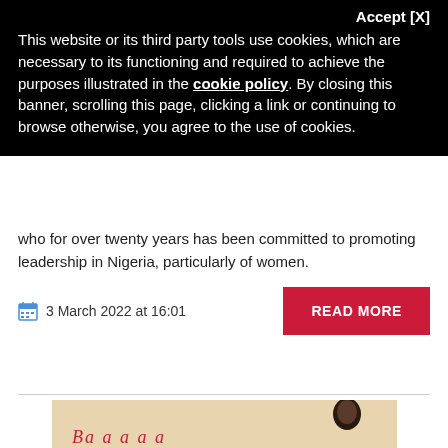Accept [X]
This website or its third party tools use cookies, which are necessary to its functioning and required to achieve the purposes illustrated in the cookie policy. By closing this banner, scrolling this page, clicking a link or continuing to browse otherwise, you agree to the use of cookies.
who for over twenty years has been committed to promoting leadership in Nigeria, particularly of women.
3 March 2022 at 16:01
READ MORE
[Figure (photo): Partial view of a person against a beige/tan background with red signature text at the bottom left and a person's head/silhouette visible at the right]